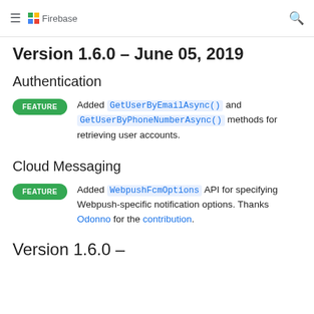Firebase
Version 1.6.0 - June 05, 2019
Authentication
Added GetUserByEmailAsync() and GetUserByPhoneNumberAsync() methods for retrieving user accounts.
Cloud Messaging
Added WebpushFcmOptions API for specifying Webpush-specific notification options. Thanks Odonno for the contribution.
Version 1.6.0 (partial, cut off)